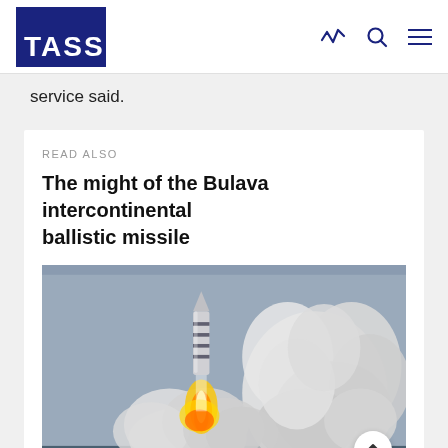TASS
service said.
READ ALSO
The might of the Bulava intercontinental ballistic missile
[Figure (photo): Bulava intercontinental ballistic missile launch from submarine, with large plume of smoke and fire against grey sky over ocean]